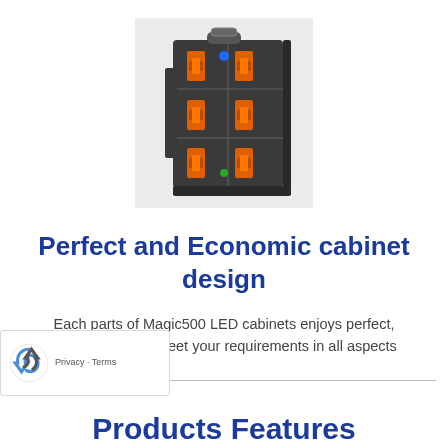[Figure (photo): LED cabinet (Magic500) shown from the back/side, dark grey metal frame with orange connectors and handles, standing upright on white background]
Perfect and Economic cabinet design
Each parts of Magic500 LED cabinets enjoys perfect, athestic design, meet your requirements in all aspects
Products Features